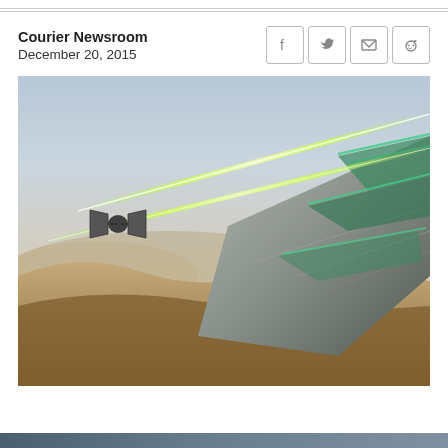Courier Newsroom
December 20, 2015
[Figure (photo): Star Wars scene showing the Millennium Falcon with green laser blasts firing, with a TIE fighter in the background, flying low over a desert landscape.]
[Figure (photo): Bottom partial image, appears to be a dark/blue toned scene.]